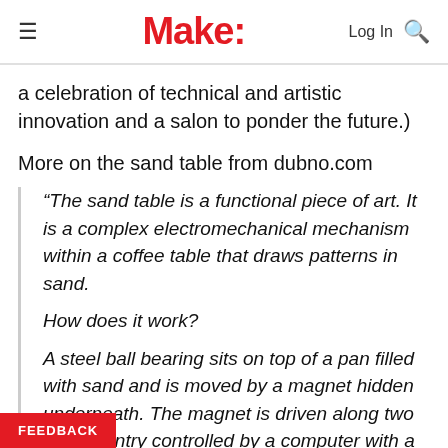Make:
a celebration of technical and artistic innovation and a salon to ponder the future.)
More on the sand table from dubno.com
“The sand table is a functional piece of art. It is a complex electromechanical mechanism within a coffee table that draws patterns in sand.

How does it work?

A steel ball bearing sits on top of a pan filled with sand and is moved by a magnet hidden underneath. The magnet is driven along two gantry controlled by a computer with a web based interface.